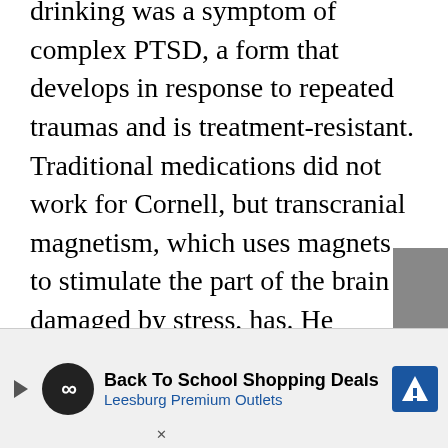drinking was a symptom of complex PTSD, a form that develops in response to repeated traumas and is treatment-resistant. Traditional medications did not work for Cornell, but transcranial magnetism, which uses magnets to stimulate the part of the brain damaged by stress, has. He eventually went out on an on-the-job injury for PTSD and, after eighteen months, he was forced to retire. In and out of facilities he went, often for thirty days at a time. He would do well, come home and spiral.
The town required Cornell to get preauthorization from human resources for all treatments, a process that's West Warwick-specific; preauth... Cross/Blue Shield of Rhode Island or the Rhode...